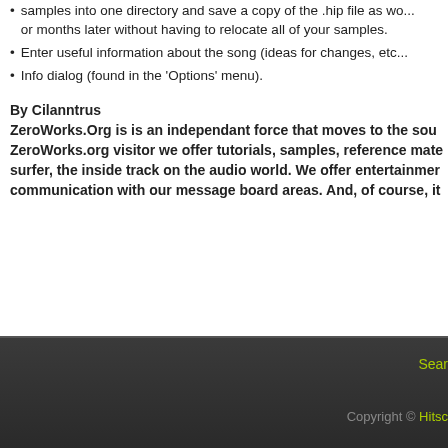samples into one directory and save a copy of the .hip file as well... or months later without having to relocate all of your samples.
Enter useful information about the song (ideas for changes, etc...
Info dialog (found in the 'Options' menu).
By Cilanntrus
ZeroWorks.Org is is an independant force that moves to the sou... ZeroWorks.org visitor we offer tutorials, samples, reference mate... surfer, the inside track on the audio world. We offer entertainmen... communication with our message board areas. And, of course, it...
Search  Copyright © Hitsqu...